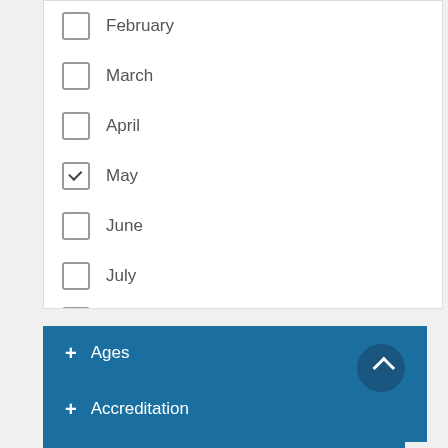February
March
April
May (checked)
June
July
August (partial)
+ Ages
+ Minimum Cost
+ Accreditation